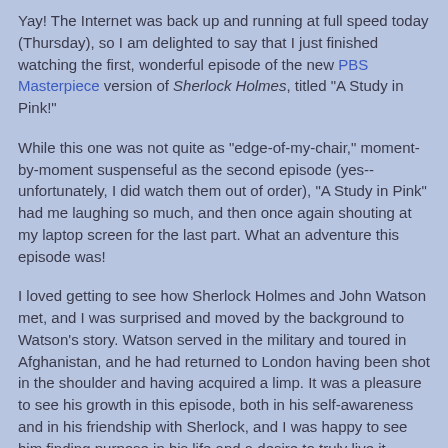Yay! The Internet was back up and running at full speed today (Thursday), so I am delighted to say that I just finished watching the first, wonderful episode of the new PBS Masterpiece version of Sherlock Holmes, titled "A Study in Pink!"
While this one was not quite as "edge-of-my-chair," moment-by-moment suspenseful as the second episode (yes--unfortunately, I did watch them out of order), "A Study in Pink" had me laughing so much, and then once again shouting at my laptop screen for the last part. What an adventure this episode was!
I loved getting to see how Sherlock Holmes and John Watson met, and I was surprised and moved by the background to Watson's story. Watson served in the military and toured in Afghanistan, and he had returned to London having been shot in the shoulder and having acquired a limp. It was a pleasure to see his growth in this episode, both in his self-awareness and in his friendship with Sherlock, and I was happy to see him finding purpose in his life and a desire to truly live it.